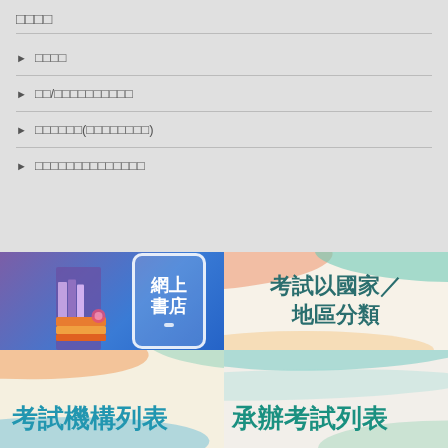□□□□
□□□□
□□/□□□□□□□□□□
□□□□□□(□□□□□□□□)
□□□□□□□□□□□□□□
[Figure (illustration): 網上書店 banner with phone/tablet icon and colorful books illustration on blue-purple gradient background]
[Figure (illustration): 考試以國家/地區分類 - exam categories by country/region banner on beige background with colorful wave decorations]
[Figure (illustration): 考試機構列表 - exam institution list banner on warm beige background with colorful swoosh decorations]
[Figure (illustration): 承辦考試列表 - examination list banner on light beige background with teal/mint wave decorations]